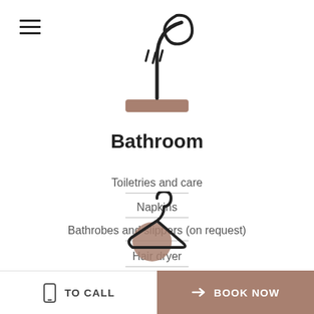[Figure (illustration): Shower head icon with water droplets and a brown/tan base platform, line art style]
Bathroom
Toiletries and care
Napkins
Bathrobes and slippers (on request)
Hair dryer
Shower
Toilets
[Figure (illustration): Coat hanger icon with a brown/tan circle at the hook top, line art style]
TO CALL   BOOK NOW